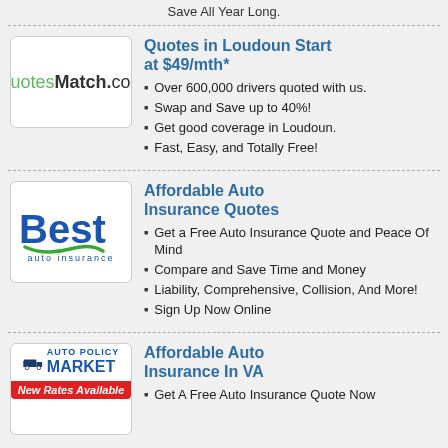Save All Year Long.
[Figure (logo): QuotesMatch.com logo — Quotes in green, Match.com in dark/bold]
Quotes in Loudoun Start at $49/mth*
Over 600,000 drivers quoted with us.
Swap and Save up to 40%!
Get good coverage in Loudoun.
Fast, Easy, and Totally Free!
[Figure (logo): Best Auto Insurance logo — blue bold 'Best' with green swirl, 'auto insurance' below in blue]
Affordable Auto Insurance Quotes
Get a Free Auto Insurance Quote and Peace Of Mind
Compare and Save Time and Money
Liability, Comprehensive, Collision, And More!
Sign Up Now Online
[Figure (logo): Auto Policy Market logo with van icon and red 'New Rates Available' banner]
Affordable Auto Insurance In VA
Get A Free Auto Insurance Quote Now